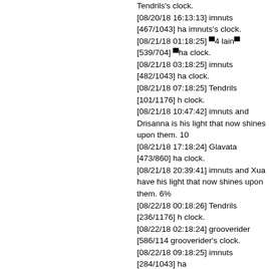Tendrils's clock.
[08/20/18 16:13:13] imnuts [467/1043] ha imnuts's clock.
[08/21/18 01:18:25] ■4 lain■ [539/704] ■ha clock.
[08/21/18 03:18:25] imnuts [482/1043] ha clock.
[08/21/18 07:18:25] Tendrils [101/1176] h clock.
[08/21/18 10:47:42] imnuts and Drisanna is his light that now shines upon them. 10
[08/21/18 17:18:24] Glavata [473/860] ha clock.
[08/21/18 20:39:41] imnuts and Xua have his light that now shines upon them. 6%
[08/22/18 00:18:26] Tendrils [236/1176] h clock.
[08/22/18 02:18:24] grooverider [586/114 grooverider's clock.
[08/22/18 09:18:25] imnuts [284/1043] ha
[08/22/18 15:40:12] imnuts [982/1043] ha imnuts's clock.
[08/22/18 17:20:00] imnuts left his weap
[08/24/18 07:20:13] imnuts was bitten by level 91.